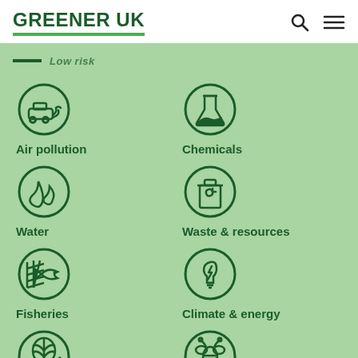GREENER UK
Air pollution
Chemicals
Water
Waste & resources
Fisheries
Climate & energy
Farming & land use
Nature protection